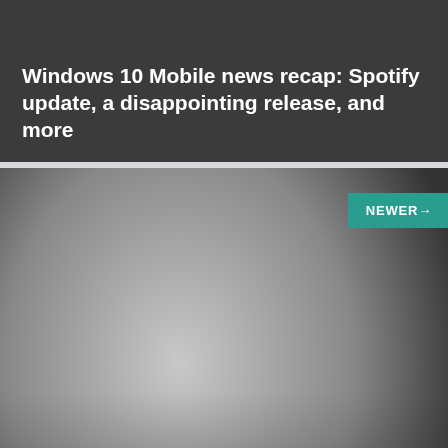Windows 10 Mobile news recap: Spotify update, a disappointing release, and more
[Figure (screenshot): Dark card with gradient image background and NEWER button]
Windows 10 news recap: Edge extensions, "freak out" features, app updates
[Figure (logo): Teal circle with ON letters, partial logo visible at bottom]